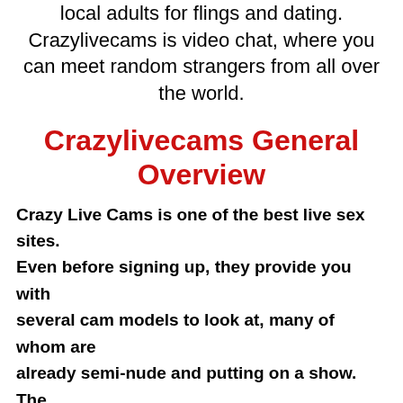local adults for flings and dating. Crazylivecams is video chat, where you can meet random strangers from all over the world.
Crazylivecams General Overview
Crazy Live Cams is one of the best live sex sites. Even before signing up, they provide you with several cam models to look at, many of whom are already semi-nude and putting on a show. The girls are mostly of Eastern European ethnicity, presented on a website that has a classy, sophisticated look that fits perfectly with the type